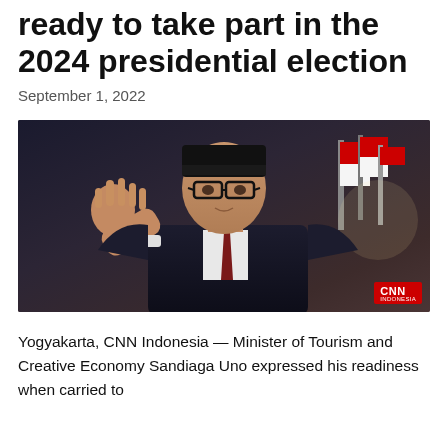ready to take part in the 2024 presidential election
September 1, 2022
[Figure (photo): A man wearing a black peci hat, dark suit, glasses, and dark red tie, raising his right hand in a wave gesture. CNN Indonesia logo watermark in bottom-right corner. Red and white flags visible in background.]
Yogyakarta, CNN Indonesia — Minister of Tourism and Creative Economy Sandiaga Uno expressed his readiness when carried to